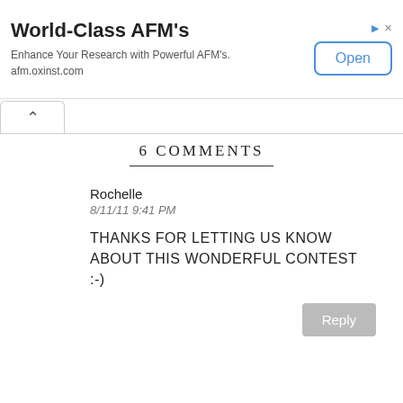[Figure (other): Advertisement banner for World-Class AFM's with Open button]
6 COMMENTS
Rochelle
8/11/11 9:41 PM
THANKS FOR LETTING US KNOW ABOUT THIS WONDERFUL CONTEST :-)